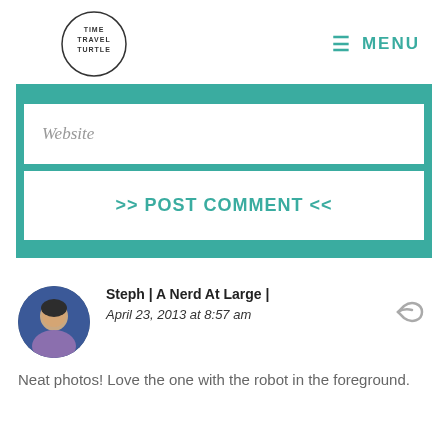TIME TRAVEL TURTLE | MENU
[Figure (screenshot): Website form input field with italic placeholder text 'Website' and a teal POST COMMENT button below it, all within a teal background container]
Steph | A Nerd At Large |
April 23, 2013 at 8:57 am
Neat photos! Love the one with the robot in the foreground.